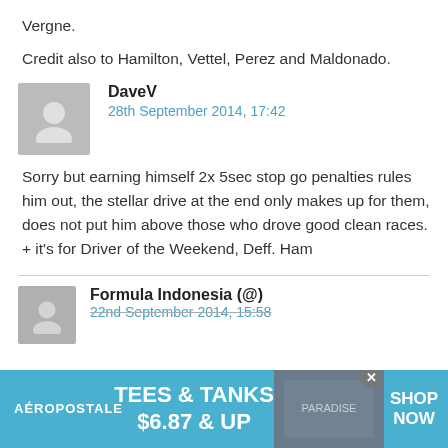Vergne.
Credit also to Hamilton, Vettel, Perez and Maldonado.
DaveV
28th September 2014, 17:42
Sorry but earning himself 2x 5sec stop go penalties rules him out, the stellar drive at the end only makes up for them, does not put him above those who drove good clean races. + it's for Driver of the Weekend, Deff. Ham
Formula Indonesia (@)
22nd September 2014, 15:58
[Figure (infographic): Aeropostale advertisement banner: TEES & TANKS $6.87 & UP, SHOP NOW]